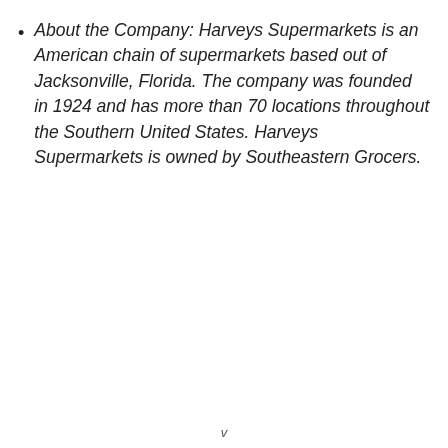About the Company: Harveys Supermarkets is an American chain of supermarkets based out of Jacksonville, Florida. The company was founded in 1924 and has more than 70 locations throughout the Southern United States. Harveys Supermarkets is owned by Southeastern Grocers.
v